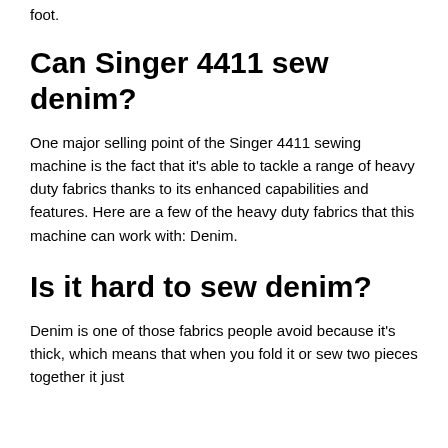foot.
Can Singer 4411 sew denim?
One major selling point of the Singer 4411 sewing machine is the fact that it's able to tackle a range of heavy duty fabrics thanks to its enhanced capabilities and features. Here are a few of the heavy duty fabrics that this machine can work with: Denim.
Is it hard to sew denim?
Denim is one of those fabrics people avoid because it's thick, which means that when you fold it or sew two pieces together it just